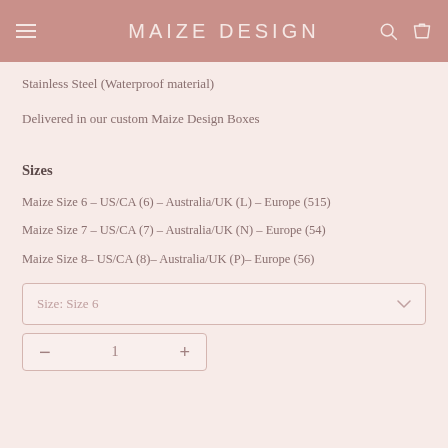MAIZE DESIGN
Stainless Steel (Waterproof material)
Delivered in our custom Maize Design Boxes
Sizes
Maize Size 6 – US/CA (6) – Australia/UK (L) – Europe (515)
Maize Size 7 – US/CA (7) – Australia/UK (N) – Europe (54)
Maize Size 8– US/CA (8)– Australia/UK (P)– Europe (56)